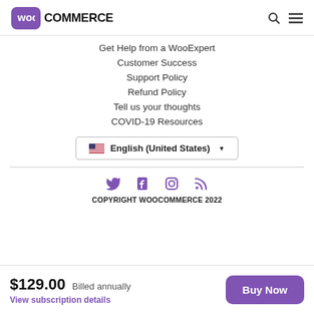WooCommerce
Get Help from a WooExpert
Customer Success
Support Policy
Refund Policy
Tell us your thoughts
COVID-19 Resources
English (United States)
[Figure (other): Social media icons: Twitter, Facebook, Instagram, RSS]
COPYRIGHT WOOCOMMERCE 2022
$129.00 Billed annually View subscription details
Buy Now